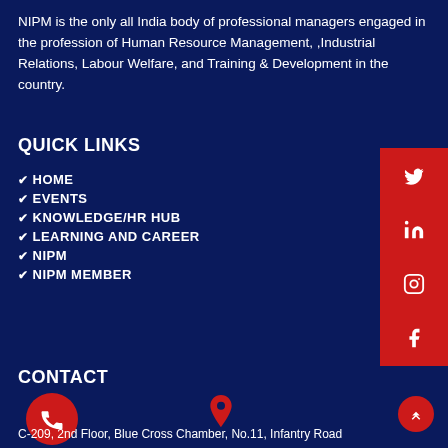NIPM is the only all India body of professional managers engaged in the profession of Human Resource Management, ,Industrial Relations, Labour Welfare, and Training & Development in the country.
QUICK LINKS
HOME
EVENTS
KNOWLEDGE/HR HUB
LEARNING AND CAREER
NIPM
NIPM MEMBER
[Figure (infographic): Red vertical social media panel with Twitter, LinkedIn, Instagram, and Facebook icons in white]
CONTACT
[Figure (infographic): Red circular phone icon and red map location pin icon]
C-209, 2nd Floor, Blue Cross Chamber, No.11, Infantry Road